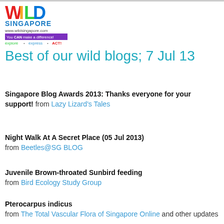[Figure (logo): Wild Singapore logo with colorful letters, www.wildsingapore.com, 'You CAN make a difference!' tagline, 'explore • express • ACT!']
Best of our wild blogs; 7 Jul 13
Singapore Blog Awards 2013: Thanks everyone for your support! from Lazy Lizard's Tales
Night Walk At A Secret Place (05 Jul 2013) from Beetles@SG BLOG
Juvenile Brown-throated Sunbird feeding from Bird Ecology Study Group
Pterocarpus indicus from The Total Vascular Flora of Singapore Online and other updates